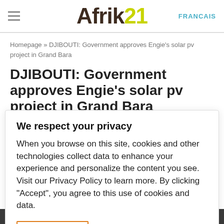Afrik 21 — FRANCAIS
Homepage » DJIBOUTI: Government approves Engie's solar pv project in Grand Bara
DJIBOUTI: Government approves Engie's solar pv project in Grand Bara
We respect your privacy
When you browse on this site, cookies and other technologies collect data to enhance your experience and personalize the content you see. Visit our Privacy Policy to learn more. By clicking "Accept", you agree to this use of cookies and data.
Accept